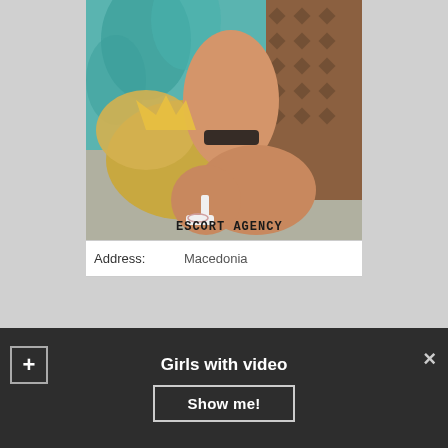[Figure (photo): Photo of a woman from behind wearing black bikini bottom and white high heels, posed on a couch with ornate gold and teal background. Text overlay reads ESCORT AGENCY in bold black uppercase letters.]
Address: Macedonia
+ Girls with video ×
Show me!